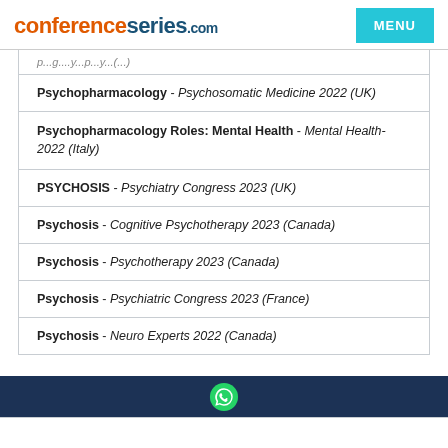conferenceseries.com
Psychopharmacology - Psychosomatic Medicine 2022 (UK)
Psychopharmacology Roles: Mental Health - Mental Health-2022 (Italy)
PSYCHOSIS - Psychiatry Congress 2023 (UK)
Psychosis - Cognitive Psychotherapy 2023 (Canada)
Psychosis - Psychotherapy 2023 (Canada)
Psychosis - Psychiatric Congress 2023 (France)
Psychosis - Neuro Experts 2022 (Canada)